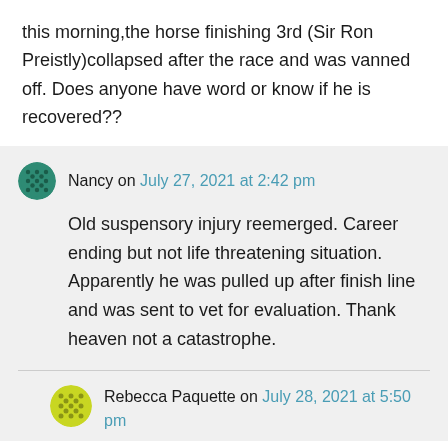this morning,the horse finishing 3rd (Sir Ron Preistly)collapsed after the race and was vanned off. Does anyone have word or know if he is recovered??
Nancy on July 27, 2021 at 2:42 pm
Old suspensory injury reemerged. Career ending but not life threatening situation. Apparently he was pulled up after finish line and was sent to vet for evaluation. Thank heaven not a catastrophe.
Rebecca Paquette on July 28, 2021 at 5:50 pm